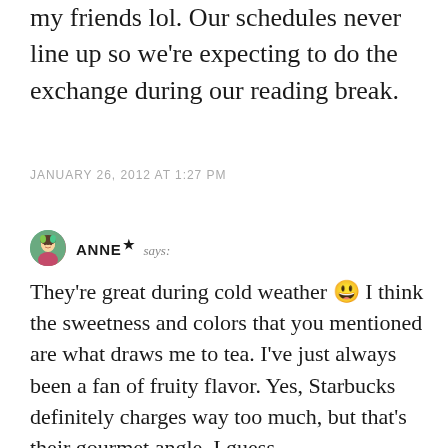my friends lol. Our schedules never line up so we're expecting to do the exchange during our reading break.
JANUARY 26, 2012 AT 1:27 PM
ANNE★ says:
They're great during cold weather 😄 I think the sweetness and colors that you mentioned are what draws me to tea. I've just always been a fan of fruity flavor. Yes, Starbucks definitely charges way too much, but that's their gourmet angle, I guess..